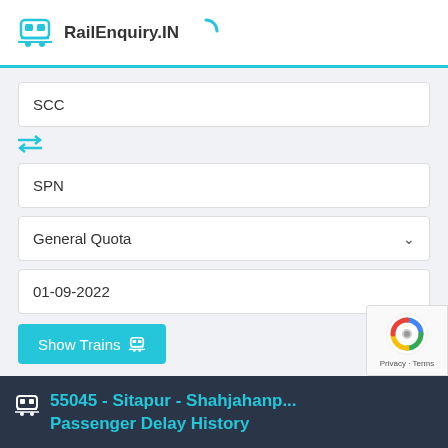RailEnquiry.IN
SCC
SPN
General Quota
01-09-2022
Show Trains
RailEnquiry App
55045 - Sitapur - Shahjahanpur Passenger Delay History